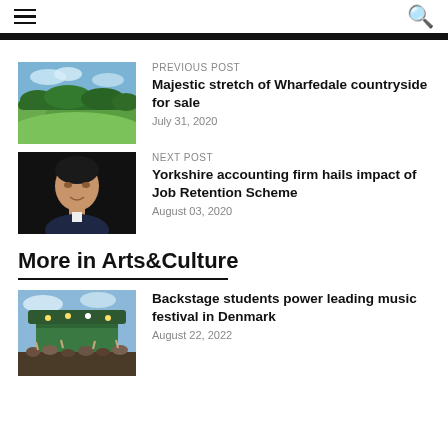Navigation header with hamburger menu and search icon
PREVIOUS POST
Majestic stretch of Wharfedale countryside for sale
July 31, 2020
[Figure (photo): Green rolling countryside with trees under blue sky]
NEXT POST
Yorkshire accounting firm hails impact of Job Retention Scheme
August 03, 2020
[Figure (photo): Professional headshot of a man in a suit against dark background]
More in Arts&Culture
Backstage students power leading music festival in Denmark
August 22, 2022
[Figure (photo): Outdoor music festival stage with crowd in front under cloudy sky]